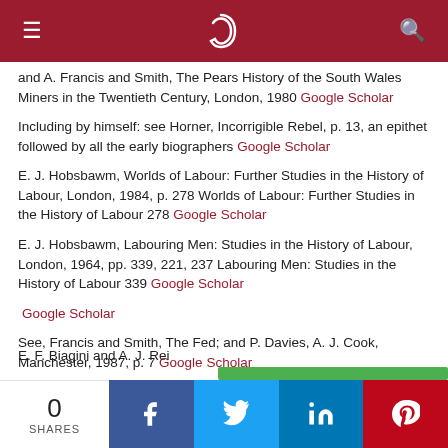≡  ) 🔍
and A. Francis and Smith, The Pears History of the South Wales Miners in the Twentieth Century, London, 1980 Google Scholar
Including by himself: see Horner, Incorrigible Rebel, p. 13, an epithet followed by all the early biographers Google Scholar
E. J. Hobsbawm, Worlds of Labour: Further Studies in the History of Labour, London, 1984, p. 278 Worlds of Labour: Further Studies in the History of Labour 278 Google Scholar
E. J. Hobsbawm, Labouring Men: Studies in the History of Labour, London, 1964, pp. 339, 221, 237 Labouring Men: Studies in the History of Labour 339 Google Scholar
Google Scholar
See, Francis and Smith, The Fed; and P. Davies, A. J. Cook, Manchester, 1987, p. 7 Google Scholar
E. F. Biagini and A. J. Re…